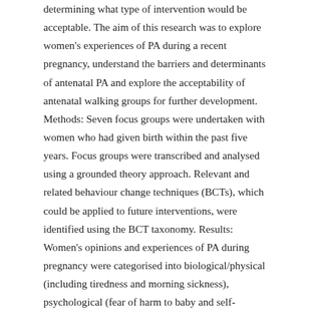determining what type of intervention would be acceptable. The aim of this research was to explore women's experiences of PA during a recent pregnancy, understand the barriers and determinants of antenatal PA and explore the acceptability of antenatal walking groups for further development. Methods: Seven focus groups were undertaken with women who had given birth within the past five years. Focus groups were transcribed and analysed using a grounded theory approach. Relevant and related behaviour change techniques (BCTs), which could be applied to future interventions, were identified using the BCT taxonomy. Results: Women's opinions and experiences of PA during pregnancy were categorised into biological/physical (including tiredness and morning sickness), psychological (fear of harm to baby and self-confidence) and social/environmental issues (including access to facilities). Although antenatal walking groups did not appear popular, women identified some factors which could encourage attendance (e.g. childcare provision) and some which could discourage attendance (e.g. walking being boring). It was clear that the personality of the walk leader would be extremely important in encouraging women to join a walking group and keep attending. Behaviour change technique categories identified as potential